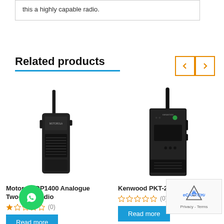this a highly capable radio.
Related products
[Figure (photo): Motorola DP1400 Analogue Two-Way Radio handheld black radio with antenna]
Motorola DP1400 Analogue Two-Way Radio
(0)
Read more
[Figure (photo): Kenwood PKT-23T PMR446 compact black radio with antenna]
Kenwood PKT-23T PMR446
(0)
Read more